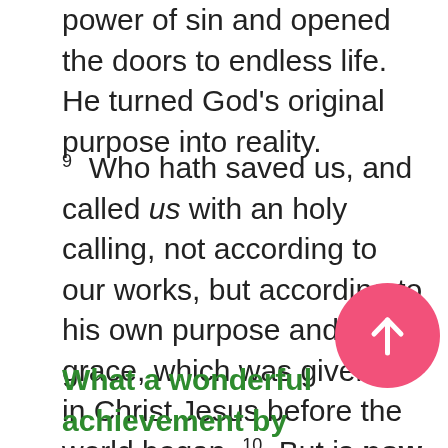power of sin and opened the doors to endless life.  He turned God's original purpose into reality.
9 Who hath saved us, and called us with an holy calling, not according to our works, but according to his own purpose and grace, which was given us in Christ Jesus before the world began, 10 But is now made manifest by the appearing of our Saviour Jesus Christ, who hath abolished death, and hath brought life and immortality to light through the gospel.  2 Timothy
What a wonderful achievement by and marvellous blessing for all men and women who are willing to listen to and